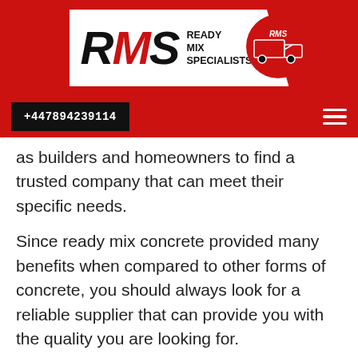[Figure (logo): RMS Ready Mix Specialists logo with red background, white panel with RMS text and tagline, and a red concrete mixer truck graphic]
+447894239114
as builders and homeowners to find a trusted company that can meet their specific needs.
Since ready mix concrete provided many benefits when compared to other forms of concrete, you should always look for a reliable supplier that can provide you with the quality you are looking for.
If you want to construct durable schools, colleges, homes, roads, and bridges, etc., you need high-quality ready mix concrete. But you will get good quality material only when you find a reputed company. You can's expect to get best-in-class